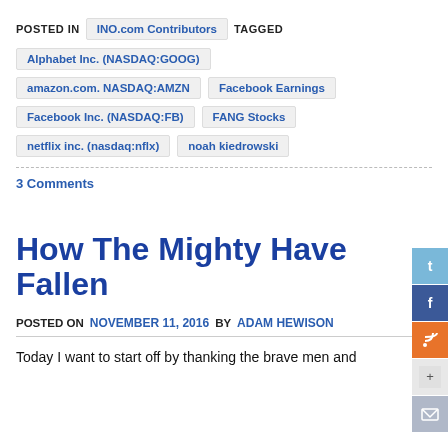POSTED IN   INO.com Contributors   TAGGED
Alphabet Inc. (NASDAQ:GOOG)
amazon.com. NASDAQ:AMZN
Facebook Earnings
Facebook Inc. (NASDAQ:FB)
FANG Stocks
netflix inc. (nasdaq:nflx)
noah kiedrowski
3 Comments
How The Mighty Have Fallen
POSTED ON  November 11, 2016  BY  Adam Hewison
Today I want to start off by thanking the brave men and